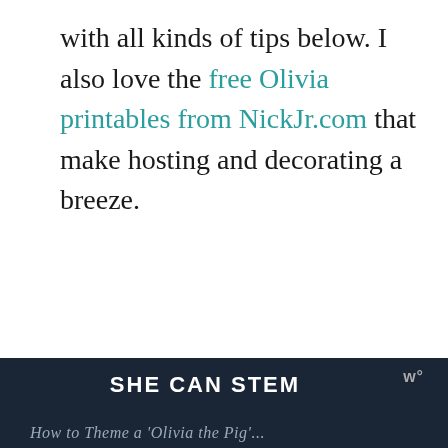with all kinds of tips below. I also love the free Olivia printables from NickJr.com that make hosting and decorating a breeze.
SHE CAN STEM